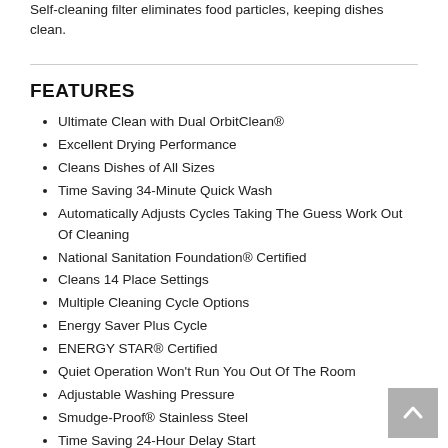Self-cleaning filter eliminates food particles, keeping dishes clean.
FEATURES
Ultimate Clean with Dual OrbitClean®
Excellent Drying Performance
Cleans Dishes of All Sizes
Time Saving 34-Minute Quick Wash
Automatically Adjusts Cycles Taking The Guess Work Out Of Cleaning
National Sanitation Foundation® Certified
Cleans 14 Place Settings
Multiple Cleaning Cycle Options
Energy Saver Plus Cycle
ENERGY STAR® Certified
Quiet Operation Won't Run You Out Of The Room
Adjustable Washing Pressure
Smudge-Proof® Stainless Steel
Time Saving 24-Hour Delay Start
Stay Put Door Allows For Easier Loading